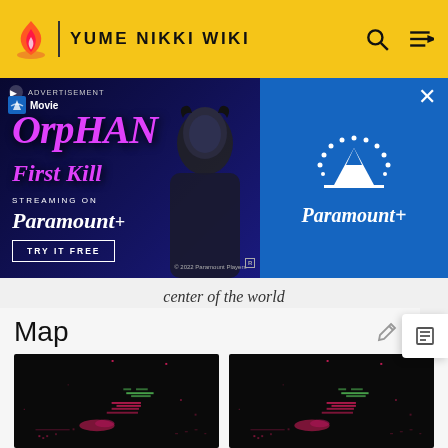YUME NIKKI WIKI
[Figure (screenshot): Advertisement banner for Orphan: First Kill streaming on Paramount+. Features movie title in pink text on dark blue background with a person's silhouette, and Paramount+ logo on blue background. Close button top right.]
center of the world
Map
[Figure (screenshot): Dark map screenshot from Yume Nikki showing a black background with scattered pink and green pixel art elements]
[Figure (screenshot): Dark map screenshot from Yume Nikki showing a black background with scattered pink and green pixel art elements (duplicate/alternate view)]